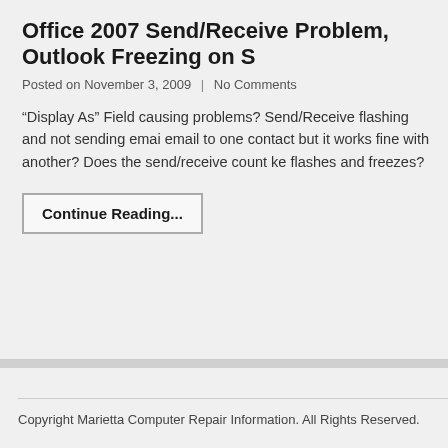Office 2007 Send/Receive Problem, Outlook Freezing on S
Posted on November 3, 2009  |  No Comments
“Display As” Field causing problems? Send/Receive flashing and not sending emai email to one contact but it works fine with another? Does the send/receive count k flashes and freezes?
Continue Reading...
Copyright Marietta Computer Repair Information. All Rights Reserved.